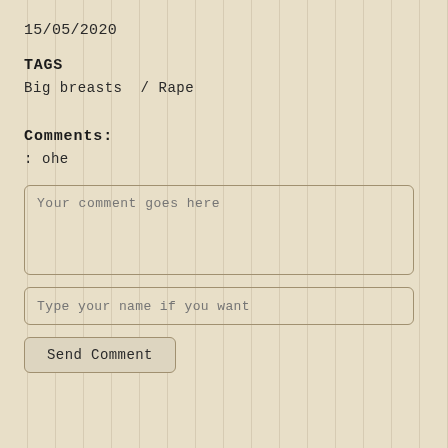15/05/2020
TAGS
Big breasts  /  Rape
Comments:
: ohe
Your comment goes here
Type your name if you want
Send Comment